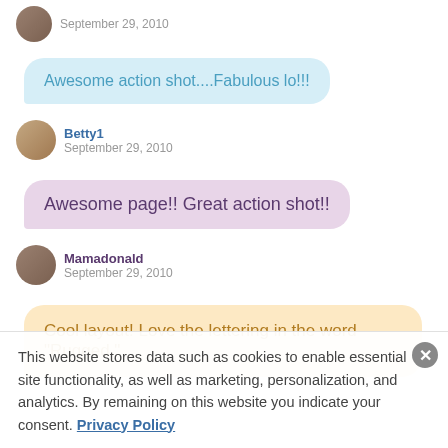September 29, 2010
Awesome action shot....Fabulous lo!!!
Betty1
September 29, 2010
Awesome page!! Great action shot!!
Mamadonald
September 29, 2010
Cool layout! Love the lettering in the word "Rugged."
This website stores data such as cookies to enable essential site functionality, as well as marketing, personalization, and analytics. By remaining on this website you indicate your consent. Privacy Policy